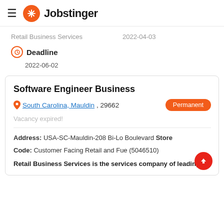Jobstinger
Retail Business Services   2022-04-03
Deadline
2022-06-02
Software Engineer Business
South Carolina, Mauldin, 29662   Permanent
Vacancy expired!
Address: USA-SC-Mauldin-208 Bi-Lo Boulevard Store Code: Customer Facing Retail and Fue (5046510)
Retail Business Services is the services company of leading